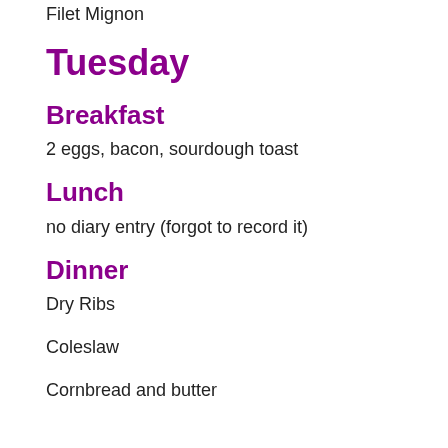Filet Mignon
Tuesday
Breakfast
2 eggs, bacon, sourdough toast
Lunch
no diary entry (forgot to record it)
Dinner
Dry Ribs
Coleslaw
Cornbread and butter